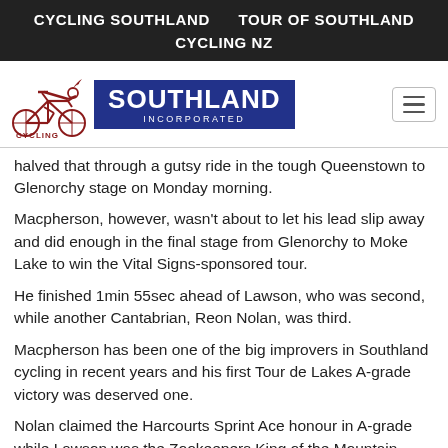CYCLING SOUTHLAND    TOUR OF SOUTHLAND    CYCLING NZ
[Figure (logo): Cycling Southland Incorporated logo with cyclist figure and Southland Incorporated text on navy background]
halved that through a gutsy ride in the tough Queenstown to Glenorchy stage on Monday morning.
Macpherson, however, wasn't about to let his lead slip away and did enough in the final stage from Glenorchy to Moke Lake to win the Vital Signs-sponsored tour.
He finished 1min 55sec ahead of Lawson, who was second, while another Cantabrian, Reon Nolan, was third.
Macpherson has been one of the big improvers in Southland cycling in recent years and his first Tour de Lakes A-grade victory was deserved one.
Nolan claimed the Harcourts Sprint Ace honour in A-grade while Lawson was the Zookeepers King of the Mountain.